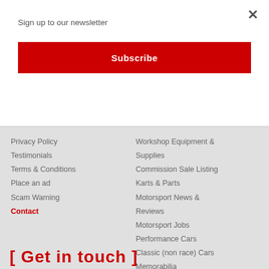Sign up to our newsletter
Subscribe
×
Privacy Policy
Testimonials
Terms & Conditions
Place an ad
Scam Warning
Contact
Workshop Equipment & Supplies
Commission Sale Listing
Karts & Parts
Motorsport News & Reviews
Motorsport Jobs
Performance Cars
Classic (non race) Cars
Memorabilia
Motorsport Directory
Race Meetings, Track & Test Days
Clubs & Championships
[ Get in touch ]